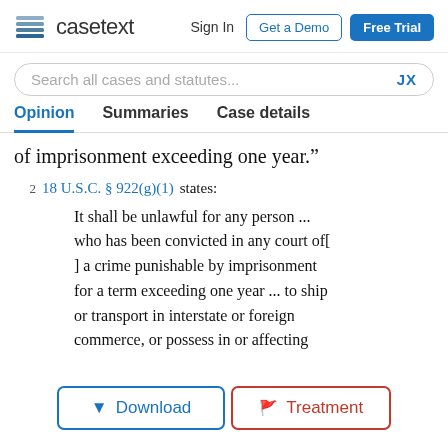casetext  Sign In  Get a Demo  Free Trial
Search all cases and statutes...  JX
Opinion  Summaries  Case details
of imprisonment exceeding one year.”
2  18 U.S.C. § 922(g)(1) states:
It shall be unlawful for any person ... who has been convicted in any court of[ ] a crime punishable by imprisonment for a term exceeding one year ... to ship or transport in interstate or foreign commerce, or possess in or affecting
▼ Download   🚩 Treatment